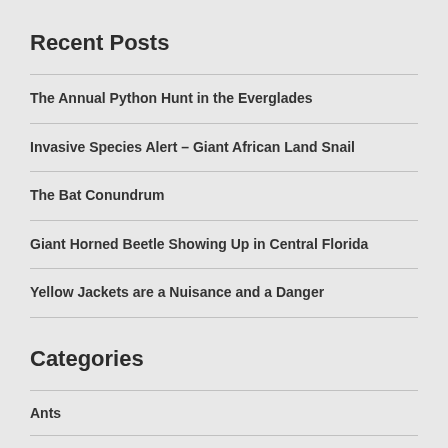Recent Posts
The Annual Python Hunt in the Everglades
Invasive Species Alert – Giant African Land Snail
The Bat Conundrum
Giant Horned Beetle Showing Up in Central Florida
Yellow Jackets are a Nuisance and a Danger
Categories
Ants
Around Town